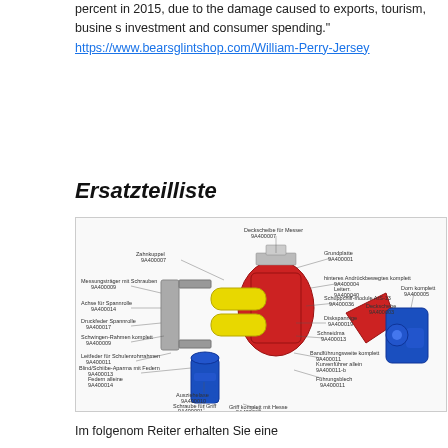percent in 2015, due to the damage caused to exports, tourism, busine s investment and consumer spending." https://www.bearsglintshop.com/William-Perry-Jersey
Ersatzteilliste
[Figure (engineering-diagram): Exploded-view engineering diagram of a mechanical assembly (possibly a cutting/slicing tool) showing components labeled in German with part numbers such as 9A400007, 9A400009, 9A400014, etc. Parts include rollers, housings, handles, and blades rendered in 3D with red, blue, and yellow coloring.]
Im folgenden Reiter erhalten Sie eine